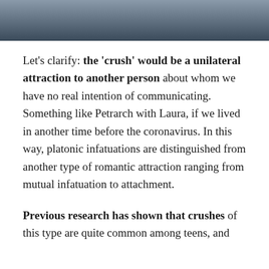[Figure (photo): Partial photo of a person, cropped at top of page, showing upper body against a blurred background]
Let's clarify: the 'crush' would be a unilateral attraction to another person about whom we have no real intention of communicating. Something like Petrarch with Laura, if we lived in another time before the coronavirus. In this way, platonic infatuations are distinguished from another type of romantic attraction ranging from mutual infatuation to attachment.
Previous research has shown that crushes of this type are quite common among teens, and